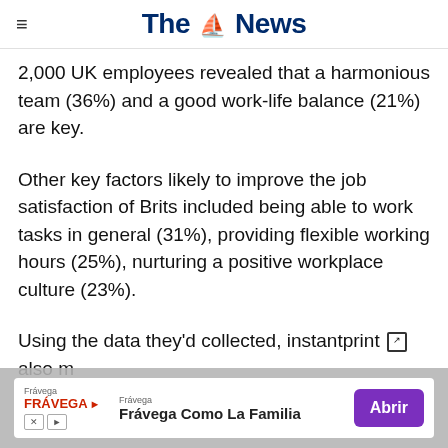The News
2,000 UK employees revealed that a harmonious team (36%) and a good work-life balance (21%) are key.
Other key factors likely to improve the job satisfaction of Brits included being able to work tasks in general (31%), providing flexible working hours (25%), nurturing a positive workplace culture (23%).
Using the data they'd collected, instantprint also m... 'es'
[Figure (other): Frávega advertisement overlay: 'Frávega Como La Familia' with Abrir button]